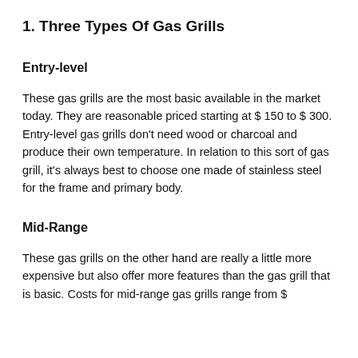1. Three Types Of Gas Grills
Entry-level
These gas grills are the most basic available in the market today. They are reasonable priced starting at $ 150 to $ 300. Entry-level gas grills don't need wood or charcoal and produce their own temperature. In relation to this sort of gas grill, it's always best to choose one made of stainless steel for the frame and primary body.
Mid-Range
These gas grills on the other hand are really a little more expensive but also offer more features than the gas grill that is basic. Costs for mid-range gas grills range from $